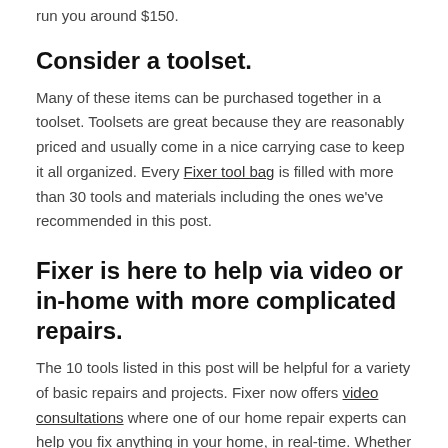run you around $150.
Consider a toolset.
Many of these items can be purchased together in a toolset. Toolsets are great because they are reasonably priced and usually come in a nice carrying case to keep it all organized. Every Fixer tool bag is filled with more than 30 tools and materials including the ones we've recommended in this post.
Fixer is here to help via video or in-home with more complicated repairs.
The 10 tools listed in this post will be helpful for a variety of basic repairs and projects. Fixer now offers video consultations where one of our home repair experts can help you fix anything in your home, in real-time. Whether you